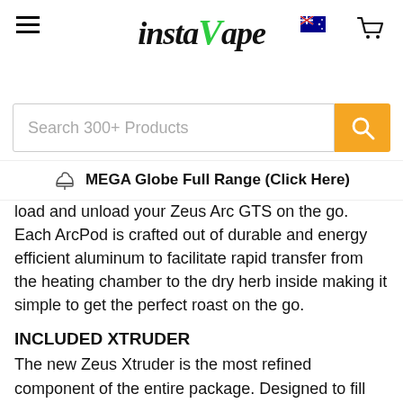instaVape
Search 300+ Products
👍 MEGA Globe Full Range (Click Here)
load and unload your Zeus Arc GTS on the go. Each ArcPod is crafted out of durable and energy efficient aluminum to facilitate rapid transfer from the heating chamber to the dry herb inside making it simple to get the perfect roast on the go.
INCLUDED XTRUDER
The new Zeus Xtruder is the most refined component of the entire package. Designed to fill ArcPods with perfectly ground herb, the Xtruder ejects the ArcPods once filled.